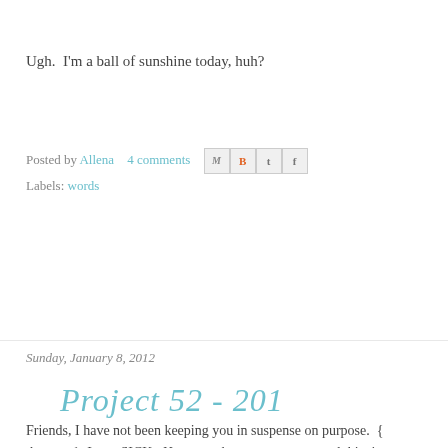Ugh.  I'm a ball of sunshine today, huh?
Posted by Allena    4 comments
Labels: words
Sunday, January 8, 2012
Project 52 - 201...
Friends, I have not been keeping you in suspense on purpose.  { the year.}  I was SICK.  Happens about once a year, and this time A trip to urgent care yesterday morning cleared that up - ear infe